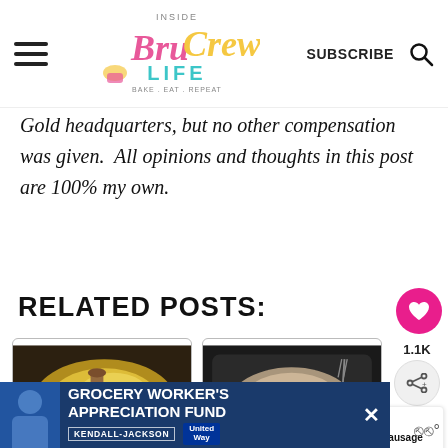Inside BruCrew Life — SUBSCRIBE
Gold headquarters, but no other compensation was given.  All opinions and thoughts in this post are 100% my own.
RELATED POSTS:
[Figure (photo): Food photo of Cheddar Sausage Pasta dish on a wooden spoon]
Cheddar Sausage Pasta
[Figure (photo): Food photo of Chicken Supreme Pasta dish in a dark pan]
Chicken Supreme Pasta
[Figure (other): Grocery Worker's Appreciation Fund advertisement banner with Kendall-Jackson and United Way logos]
WHAT'S NEXT → Chicken Sausage Pa...